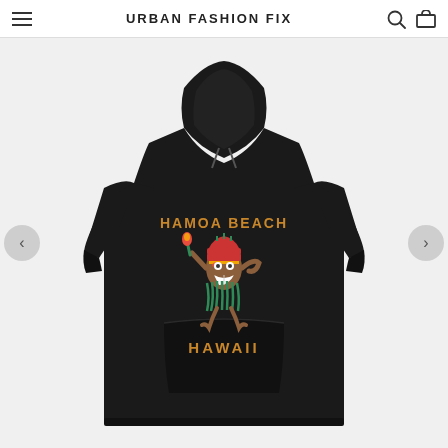URBAN FASHION FIX
[Figure (photo): Black pullover hoodie with a cartoon Hawaiian tiki character graphic and text 'HAMOA BEACH HAWAII' printed on the chest, displayed on a product listing page from Urban Fashion Fix.]